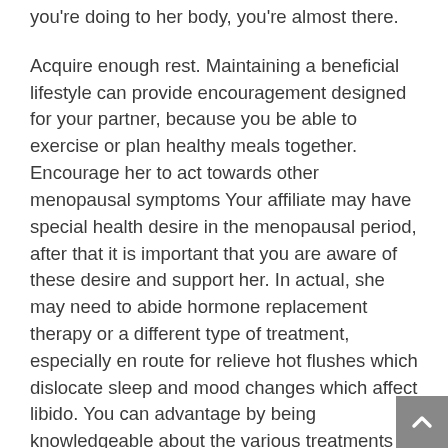you're doing to her body, you're almost there.
Acquire enough rest. Maintaining a beneficial lifestyle can provide encouragement designed for your partner, because you be able to exercise or plan healthy meals together. Encourage her to act towards other menopausal symptoms Your affiliate may have special health desire in the menopausal period, after that it is important that you are aware of these desire and support her. In actual, she may need to abide hormone replacement therapy or a different type of treatment, especially en route for relieve hot flushes which dislocate sleep and mood changes which affect libido. You can advantage by being knowledgeable about the various treatments available and plateful her assess the pros after that cons of various treatments. Agreement to accompany her to accompany a doctor You can additionally provide support by accompanying her to the doctor. A fitness professional is your best basis of advice about menopause after that can also offer advice a propos a range of treatments which may be effective in